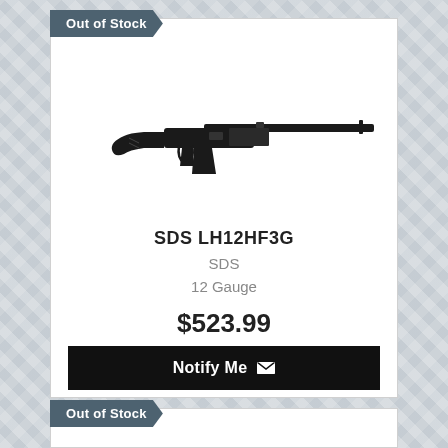Out of Stock
[Figure (photo): Semi-automatic rifle / shotgun product image, black colored, side profile view]
SDS LH12HF3G
SDS
12 Gauge
$523.99
Notify Me
Out of Stock